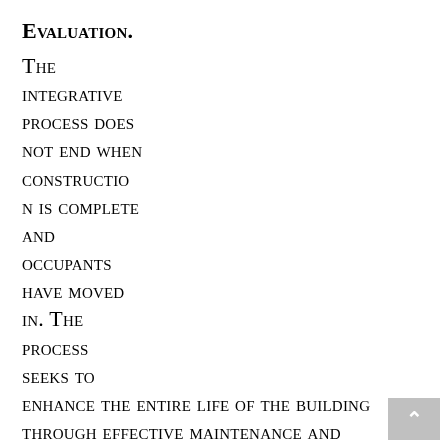Evaluation.
The integrative process does not end when construction is complete and occupants have moved in. The process seeks to enhance the entire life of the building through effective maintenance and operation, measurement and verification, re-commissioning, and building performance evaluation. The post